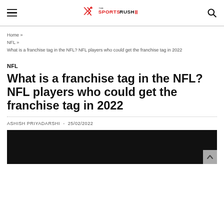The Sports Rush — site header with hamburger menu, logo, search icon
Home » NFL » What is a franchise tag in the NFL? NFL players who could get the franchise tag in 2022
NFL
What is a franchise tag in the NFL? NFL players who could get the franchise tag in 2022
ASHISH PRIYADARSHI - 25/02/2022
[Figure (photo): Dark/black image placeholder at the bottom of the article header]